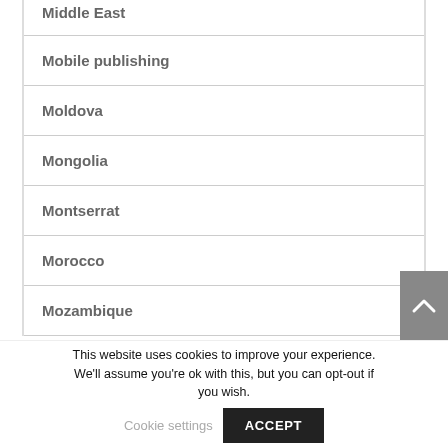Middle East
Mobile publishing
Moldova
Mongolia
Montserrat
Morocco
Mozambique
This website uses cookies to improve your experience. We'll assume you're ok with this, but you can opt-out if you wish.
Cookie settings
ACCEPT